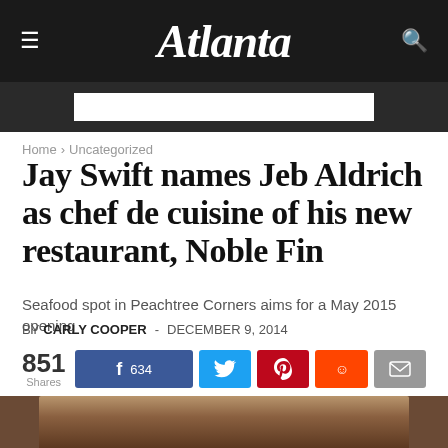Atlanta
Home › Uncategorized
Jay Swift names Jeb Aldrich as chef de cuisine of his new restaurant, Noble Fin
Seafood spot in Peachtree Corners aims for a May 2015 opening
BY CARLY COOPER - DECEMBER 9, 2014
851 Shares | Facebook 634 | Twitter | Pinterest | Reddit | Email
[Figure (photo): Photo of a person, partially visible at bottom of page]